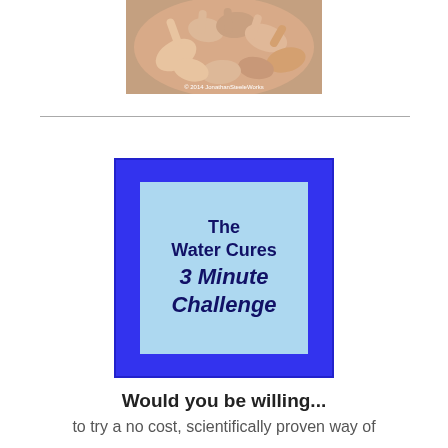[Figure (photo): Overhead photo of multiple hands joined together in a circle, with a copyright notice '© 2014 JonathanSteeleWorks' at the bottom]
[Figure (infographic): Blue-bordered badge with light blue interior containing the text 'The Water Cures 3 Minute Challenge' in bold and italic dark navy font]
Would you be willing...
to try a no cost, scientifically proven way of